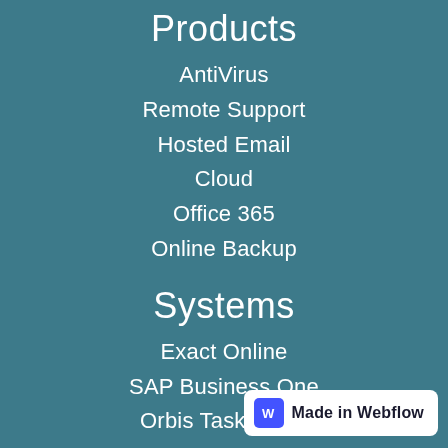Products
AntiVirus
Remote Support
Hosted Email
Cloud
Office 365
Online Backup
Systems
Exact Online
SAP Business One
Orbis Taskcentre
Contact
Contact Page